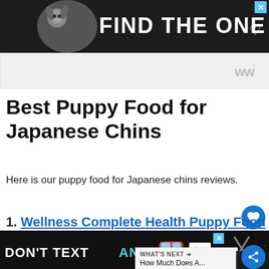[Figure (photo): Top advertisement banner: dark background with dog image and text 'FIND THE ONE' with a heart symbol]
[Figure (logo): White strip with 'ww degree' logo on the right]
Best Puppy Food for Japanese Chins
Here is our puppy food for Japanese chins reviews.
1. Wellness Complete Health Puppy Food
[Figure (photo): Product image - yellow/orange dog food bag labeled 'Natural Food for Puppies']
[Figure (infographic): Bottom advertisement banner: black background with text 'DON'T TEXT AND' with car emoji and NHTSA logo]